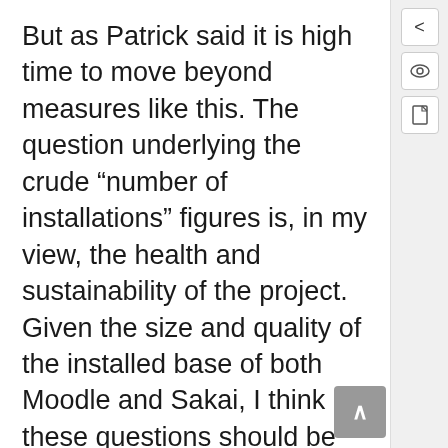But as Patrick said it is high time to move beyond measures like this. The question underlying the crude “number of installations” figures is, in my view, the health and sustainability of the project. Given the size and quality of the installed base of both Moodle and Sakai, I think these questions should be laid to rest–both have demonstrated they are here to stay. There are important differences between the products and the communities, of course, which may lead you to prefer one over the other.
Patrick’s comments on procurement